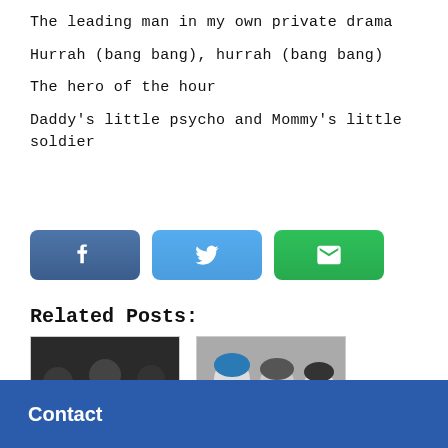The leading man in my own private drama
Hurrah (bang bang), hurrah (bang bang)
The hero of the hour
Daddy's little psycho and Mommy's little soldier
[Figure (infographic): Three social share buttons: Facebook (dark blue), Twitter (light blue), Email (green)]
Related Posts:
[Figure (photo): Photo of a band with three male members, dark background, casual poses]
[Figure (photo): Black and white photo of a band with members including one with blue hair]
Contact